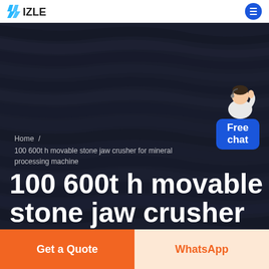IZLE (logo)
[Figure (photo): Dark corrugated industrial surface (stacked corrugated metal or stone layers) used as hero background image]
Home /
100 600t h movable stone jaw crusher for mineral processing machine
100 600t h movable stone jaw crusher for
[Figure (illustration): Customer service representative in white jacket with headset, standing beside a blue chat bubble widget that reads 'Free chat']
Get a Quote
WhatsApp